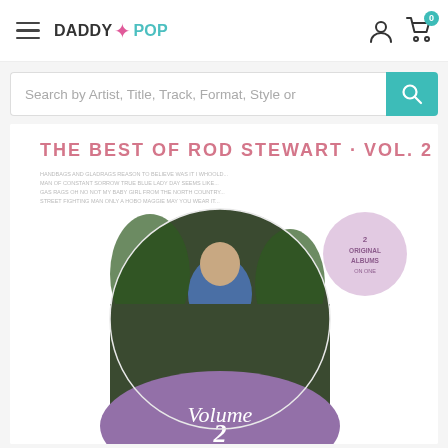DADDY POP — website header with menu icon, logo, account icon, and cart icon (0 items)
Search by Artist, Title, Track, Format, Style or
[Figure (photo): Album cover for 'The Best of Rod Stewart - Vol. 2'. White background with pink text at top reading 'THE BEST OF ROD STEWART · VOL. 2', tracklisting text in small print, and a circular photo of Rod Stewart seated in a chair wearing a blue denim outfit, surrounded by plants. A purple/lavender semicircle at bottom with 'Vol. 2' text, and a circular badge on the right reading '2 Original Albums'. ]